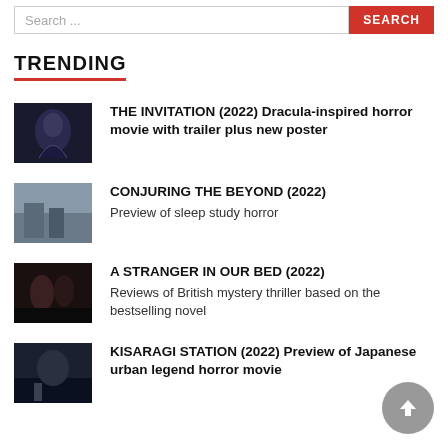TRENDING
THE INVITATION (2022) Dracula-inspired horror movie with trailer plus new poster
CONJURING THE BEYOND (2022) Preview of sleep study horror
A STRANGER IN OUR BED (2022) Reviews of British mystery thriller based on the bestselling novel
KISARAGI STATION (2022) Preview of Japanese urban legend horror movie